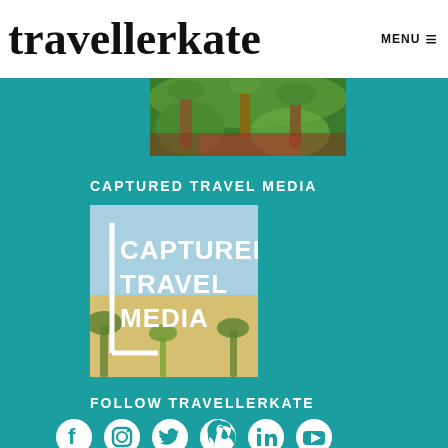travellerkate MENU
[Figure (photo): Tropical garden with palm trees and lush green vegetation, fisheye-style photo]
CAPTURED TRAVEL MEDIA
[Figure (logo): Captured Travel Media logo: bracket graphic with text CAPTURED TRAVEL MEDIA on palm tree background]
FOLLOW TRAVELLERKATE
[Figure (infographic): Social media icons row: Facebook, Instagram, Twitter, Pinterest, LinkedIn, YouTube]